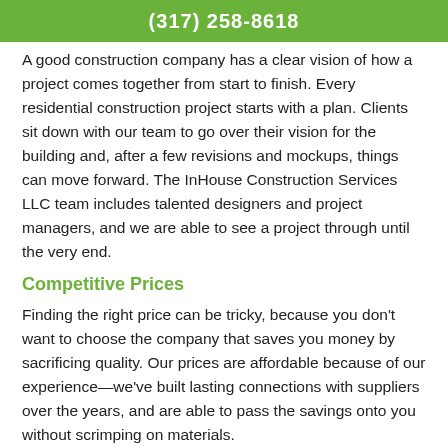(317) 258-8618
A good construction company has a clear vision of how a project comes together from start to finish. Every residential construction project starts with a plan. Clients sit down with our team to go over their vision for the building and, after a few revisions and mockups, things can move forward. The InHouse Construction Services LLC team includes talented designers and project managers, and we are able to see a project through until the very end.
Competitive Prices
Finding the right price can be tricky, because you don't want to choose the company that saves you money by sacrificing quality. Our prices are affordable because of our experience—we've built lasting connections with suppliers over the years, and are able to pass the savings onto you without scrimping on materials.